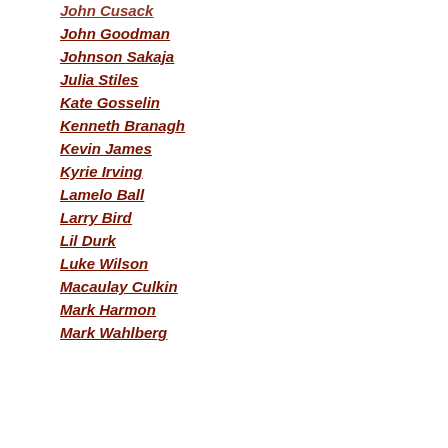John Cusack
John Goodman
Johnson Sakaja
Julia Stiles
Kate Gosselin
Kenneth Branagh
Kevin James
Kyrie Irving
Lamelo Ball
Larry Bird
Lil Durk
Luke Wilson
Macaulay Culkin
Mark Harmon
Mark Wahlberg